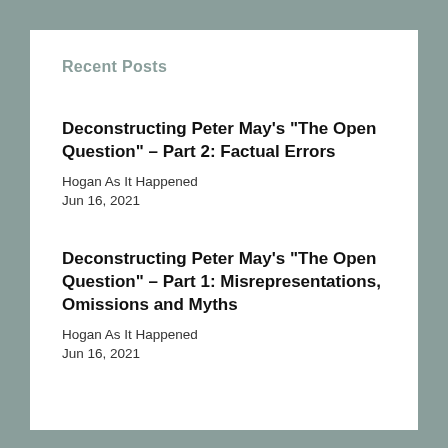Recent Posts
Deconstructing Peter May's "The Open Question" - Part 2: Factual Errors
Hogan As It Happened
Jun 16, 2021
Deconstructing Peter May's "The Open Question" - Part 1: Misrepresentations, Omissions and Myths
Hogan As It Happened
Jun 16, 2021